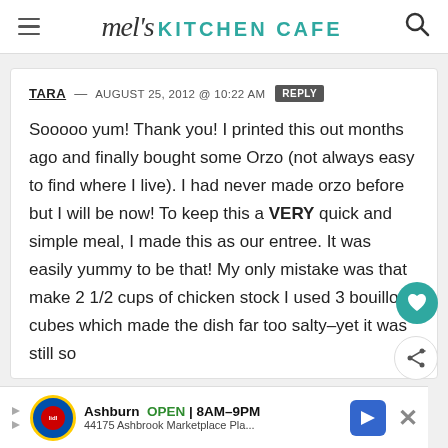mel's KITCHEN CAFE
TARA — AUGUST 25, 2012 @ 10:22 AM REPLY
Sooooo yum! Thank you! I printed this out months ago and finally bought some Orzo (not always easy to find where I live). I had never made orzo before but I will be now! To keep this a VERY quick and simple meal, I made this as our entree. It was easily yummy to be that! My only mistake was that make 2 1/2 cups of chicken stock I used 3 bouillon cubes which made the dish far too salty–yet it was still so
[Figure (other): Advertisement banner for Lidl store in Ashburn, OPEN 8AM-9PM, 44175 Ashbrook Marketplace Pla...]